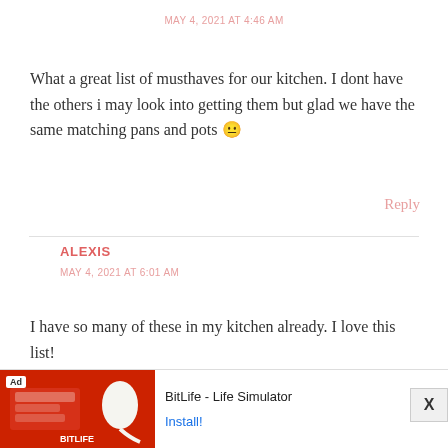MAY 4, 2021 AT 4:46 AM
What a great list of musthaves for our kitchen. I dont have the others i may look into getting them but glad we have the same matching pans and pots 😐
Reply
ALEXIS
MAY 4, 2021 AT 6:01 AM
I have so many of these in my kitchen already. I love this list!
Reply
[Figure (screenshot): Ad banner for BitLife - Life Simulator with red background image on left, Ad badge, and Install button on right]